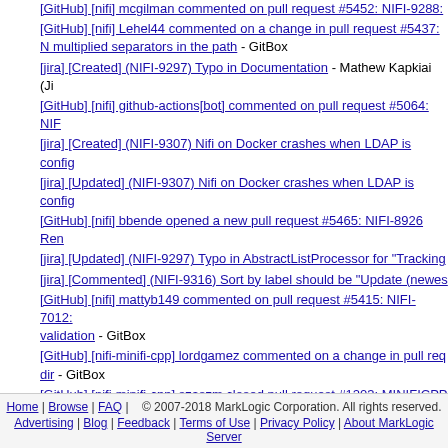[GitHub] [nifi] mcgilman commented on pull request #5452: NIFI-9288:
[GitHub] [nifi] Lehel44 commented on a change in pull request #5437: N multiplied separators in the path - GitBox
[jira] [Created] (NIFI-9297) Typo in Documentation - Mathew Kapkiai (Ji
[GitHub] [nifi] github-actions[bot] commented on pull request #5064: NIF
[jira] [Created] (NIFI-9307) Nifi on Docker crashes when LDAP is config
[jira] [Updated] (NIFI-9307) Nifi on Docker crashes when LDAP is config
[GitHub] [nifi] bbende opened a new pull request #5465: NIFI-8926 Ren
[jira] [Updated] (NIFI-9297) Typo in AbstractListProcessor for "Tracking
[jira] [Commented] (NIFI-9316) Sort by label should be "Update (newes
[GitHub] [nifi] mattyb149 commented on pull request #5415: NIFI-7012: validation - GitBox
[GitHub] [nifi-minifi-cpp] lordgamez commented on a change in pull req dir - GitBox
[GitHub] [nifi-minifi-cpp] szaszm closed pull request #1203: MINIFICPP
[GitHub] [nifi] asfgit closed pull request #5499: NIFI-9352: Ensure that v
Page 1 (Messages 1 to 25): 1 2 3 4 5 6 7 8 9 10 11 12 13 14 15 16 17 40 41 42 43 44 45 46 47 48 49 50 51 52 53 54 55 56 57 58 59 60
Home | Browse | FAQ | © 2007-2018 MarkLogic Corporation. All rights reserved. Advertising | Blog | Feedback | Terms of Use | Privacy Policy | About MarkLogic Server